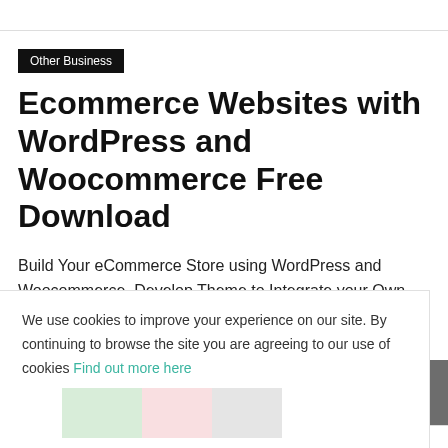Other Business
Ecommerce Websites with WordPress and Woocommerce Free Download
Build Your eCommerce Store using WordPress and Woocommerce. Develop Theme to Integrate your Own Design, Setup Payments
We use cookies to improve your experience on our site. By continuing to browse the site you are agreeing to our use of cookies Find out more here